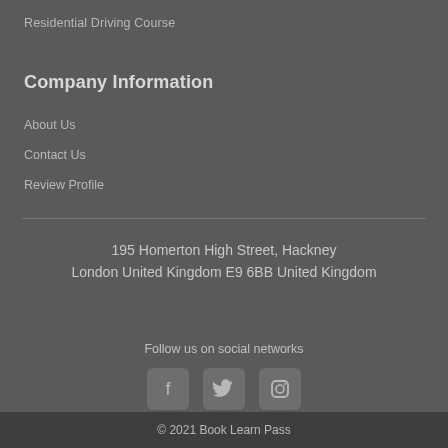Residential Driving Course
Company Information
About Us
Contact Us
Review Profile
195 Homerton High Street, Hackney
London United Kingdom E9 6BB United Kingdom
Follow us on social networks
[Figure (infographic): Three social media icons: Facebook, Twitter, Instagram, displayed as rounded square buttons]
© 2021 Book Learn Pass